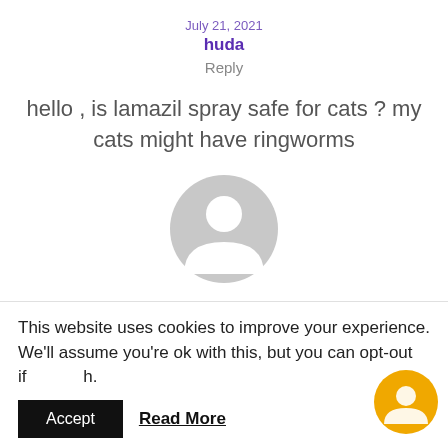July 21, 2021
huda
Reply
hello , is lamazil spray safe for cats ? my cats might have ringworms
[Figure (illustration): Generic user avatar icon (grey circle with silhouette)]
May 24, 2022
Crystal
This website uses cookies to improve your experience. We'll assume you're ok with this, but you can opt-out if you wish.
Accept
Read More